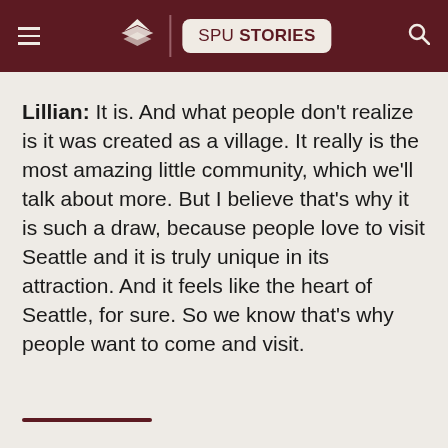SPU STORIES
Lillian: It is. And what people don't realize is it was created as a village. It really is the most amazing little community, which we'll talk about more. But I believe that's why it is such a draw, because people love to visit Seattle and it is truly unique in its attraction. And it feels like the heart of Seattle, for sure. So we know that's why people want to come and visit.